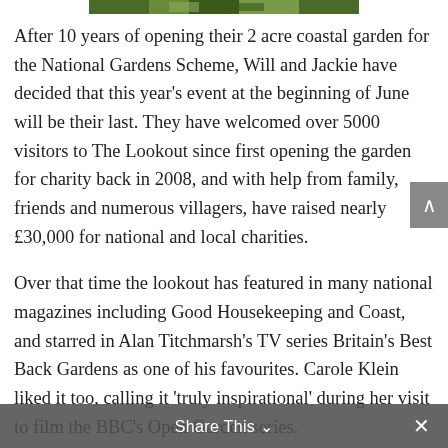[Figure (photo): Partial view of a garden photograph at top of page]
After 10 years of opening their 2 acre coastal garden for the National Gardens Scheme, Will and Jackie have decided that this year's event at the beginning of June will be their last. They have welcomed over 5000 visitors to The Lookout since first opening the garden for charity back in 2008, and with help from family, friends and numerous villagers, have raised nearly £30,000 for national and local charities.
Over that time the lookout has featured in many national magazines including Good Housekeeping and Coast, and starred in Alan Titchmarsh's TV series Britain's Best Back Gardens as one of his favourites. Carole Klein liked it too, calling it 'truly inspirational' during her visit to film the BBC's Open Garden series.
The Lookout occupies what used to be the derelict 1920s-built mussel purification station. The site was saved from the sea and has undergone an incredible
Share This ×